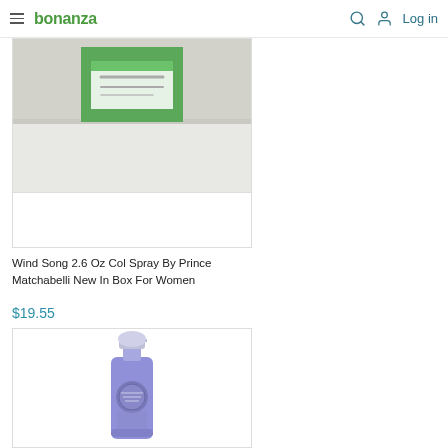bonanza — Log in
[Figure (photo): Wind Song cologne spray product image - partially visible, showing green and white box against grey background]
Wind Song 2.6 Oz Col Spray By Prince Matchabelli New In Box For Women
$19.55
[Figure (photo): Purple/lavender spray bottle perfume product image on white background]